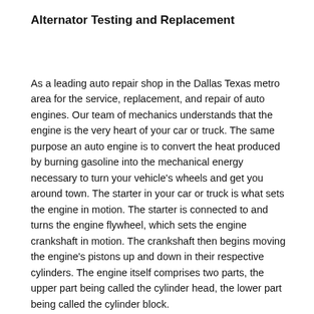Alternator Testing and Replacement
As a leading auto repair shop in the Dallas Texas metro area for the service, replacement, and repair of auto engines. Our team of mechanics understands that the engine is the very heart of your car or truck. The same purpose an auto engine is to convert the heat produced by burning gasoline into the mechanical energy necessary to turn your vehicle's wheels and get you around town. The starter in your car or truck is what sets the engine in motion. The starter is connected to and turns the engine flywheel, which sets the engine crankshaft in motion. The crankshaft then begins moving the engine's pistons up and down in their respective cylinders. The engine itself comprises two parts, the upper part being called the cylinder head, the lower part being called the cylinder block.